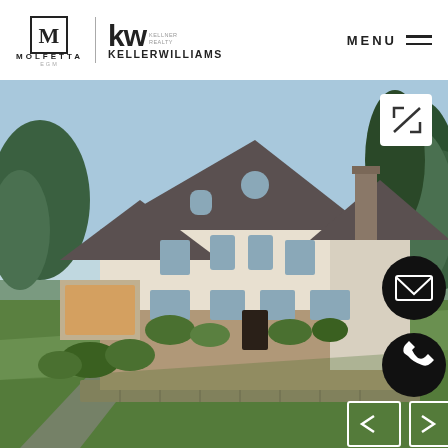[Figure (logo): Molfetta logo with stylized M icon and KELLERWILLIAMS logo side by side with a vertical divider line]
MENU
[Figure (photo): Exterior photo of a large luxury residential home with stone and stucco facade, multiple gables, large windows, landscaped lawn with stone retaining walls, surrounded by mature trees on a sunny day]